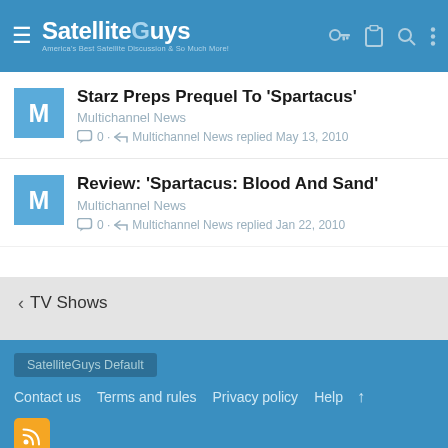SatelliteGuys - America's Best Satellite Discussion & So Much More!
Starz Preps Prequel To 'Spartacus'
Multichannel News
0 · Multichannel News replied May 13, 2010
Review: 'Spartacus: Blood And Sand'
Multichannel News
0 · Multichannel News replied Jan 22, 2010
< TV Shows
SatelliteGuys Default
Contact us  Terms and rules  Privacy policy  Help  ↑